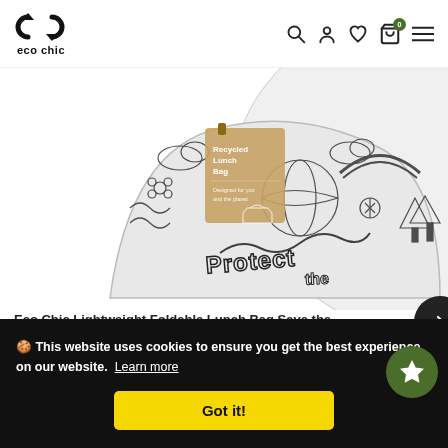[Figure (logo): Eco Chic logo — two overlapping circle arrows icon above text 'eco chic']
[Figure (photo): Eco Chic Lightweight Foldable Lunch Bag 'Save the Planet' with black and white illustrated pattern and brown kraft paper tag reading 'Recycled Lunch Bag']
Eco Chic Lightweight Foldable Lunch Bag Save the...
🍪 This website uses cookies to ensure you get the best experience on our website. Learn more
Got it!